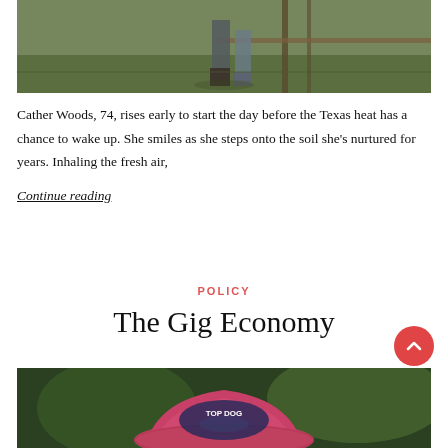[Figure (photo): Outdoor photo showing a person's lower body standing near a fence post in a green grassy field in Texas, taken in warm light]
Cather Woods, 74, rises early to start the day before the Texas heat has a chance to wake up. She smiles as she steps onto the soil she's nurtured for years. Inhaling the fresh air,
Continue reading
POLICY
The Gig Economy
[Figure (photo): Close-up outdoor photo showing a pink 'Top Dog' baseball cap, with blurred green background]